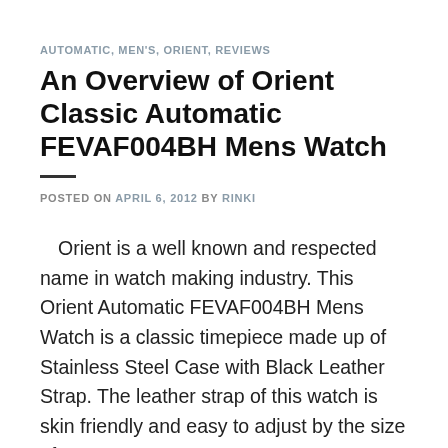AUTOMATIC, MEN'S, ORIENT, REVIEWS
An Overview of Orient Classic Automatic FEVAF004BH Mens Watch
POSTED ON APRIL 6, 2012 BY RINKI
Orient is a well known and respected name in watch making industry. This Orient Automatic FEVAF004BH Mens Watch is a classic timepiece made up of Stainless Steel Case with Black Leather Strap. The leather strap of this watch is skin friendly and easy to adjust by the size of your